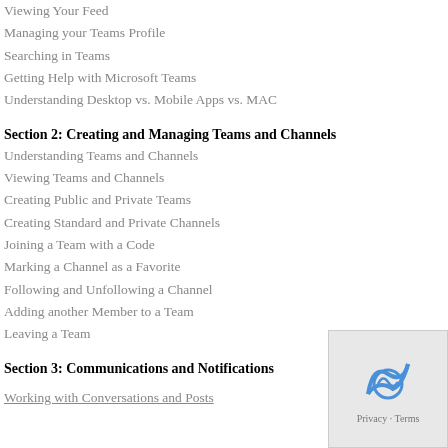Viewing Your Feed
Managing your Teams Profile
Searching in Teams
Getting Help with Microsoft Teams
Understanding Desktop vs. Mobile Apps vs. MAC
Section 2: Creating and Managing Teams and Channels
Understanding Teams and Channels
Viewing Teams and Channels
Creating Public and Private Teams
Creating Standard and Private Channels
Joining a Team with a Code
Marking a Channel as a Favorite
Following and Unfollowing a Channel
Adding another Member to a Team
Leaving a Team
Section 3: Communications and Notifications
Working with Conversations and Posts